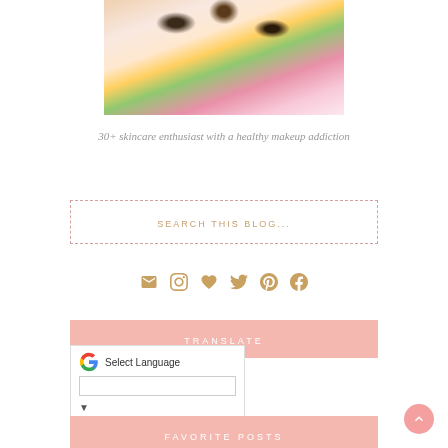[Figure (photo): Close-up macro photo of an eye with colorful false eyelashes - pink, green/yellow extensions visible, with glittery eye makeup]
30+ skincare enthusiast with a healthy makeup addiction
SEARCH THIS BLOG...
[Figure (infographic): Row of social media icons: email (envelope), Instagram, heart/Bloglovin, Twitter, Pinterest, Facebook - all in golden/tan color]
TRANSLATE
[Figure (screenshot): Google Translate widget showing Google G logo, 'Select Language' text, and a dropdown arrow]
FAVORITE POSTS